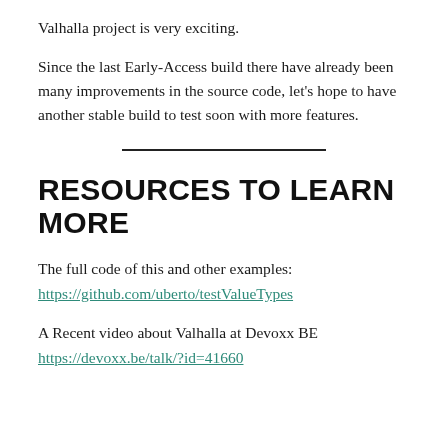Valhalla project is very exciting.
Since the last Early-Access build there have already been many improvements in the source code, let’s hope to have another stable build to test soon with more features.
RESOURCES TO LEARN MORE
The full code of this and other examples:
https://github.com/uberto/testValueTypes
A Recent video about Valhalla at Devoxx BE
https://devoxx.be/talk/?id=41660